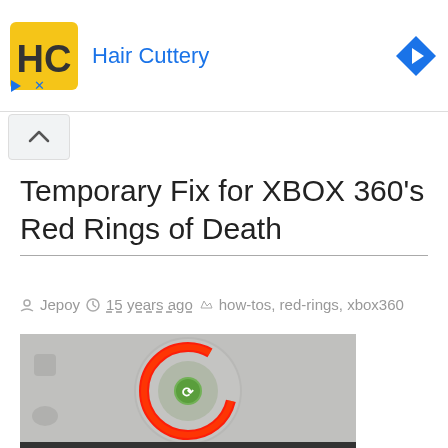[Figure (screenshot): Advertisement banner for Hair Cuttery with HC logo in yellow square, blue text 'Hair Cuttery', and blue diamond arrow icon on the right]
Temporary Fix for XBOX 360's Red Rings of Death
Jepoy  15 years ago  how-tos, red-rings, xbox360
[Figure (photo): Close-up photo of an XBOX 360 console power button showing the Red Ring of Death — a glowing red ring around the power button with a green Xbox logo in the center]